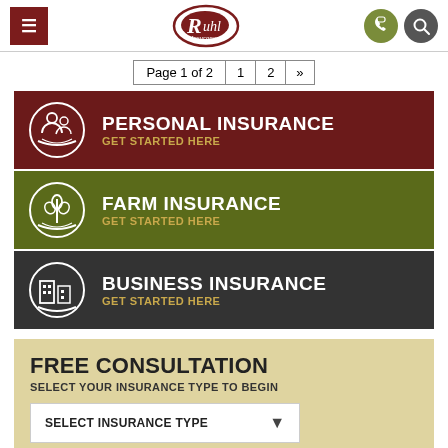Ruhl Insurance — Page 1 of 2
PERSONAL INSURANCE — GET STARTED HERE
FARM INSURANCE — GET STARTED HERE
BUSINESS INSURANCE — GET STARTED HERE
FREE CONSULTATION
SELECT YOUR INSURANCE TYPE TO BEGIN
SELECT INSURANCE TYPE